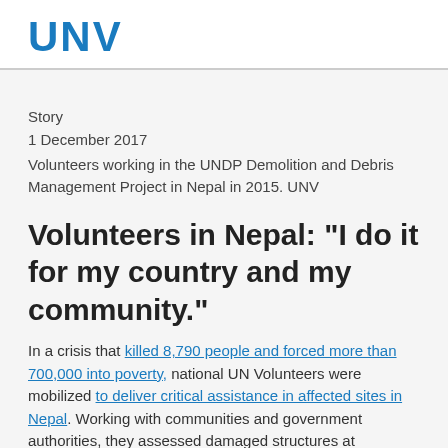UNV
Story
1 December 2017
Volunteers working in the UNDP Demolition and Debris Management Project in Nepal in 2015. UNV
Volunteers in Nepal: "I do it for my country and my community."
In a crisis that killed 8,790 people and forced more than 700,000 into poverty, national UN Volunteers were mobilized to deliver critical assistance in affected sites in Nepal. Working with communities and government authorities, they assessed damaged structures at